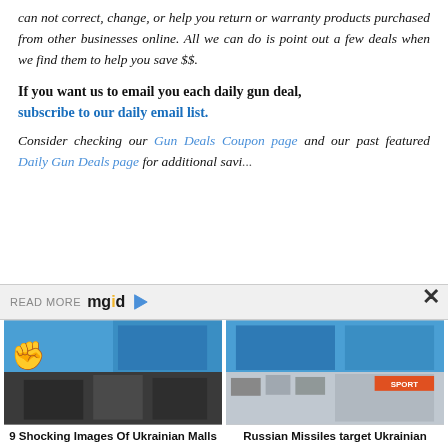can not correct, change, or help you return or warranty products purchased from other businesses online. All we can do is point out a few deals when we find them to help you save $$.
If you want us to email you each daily gun deal, subscribe to our daily email list.
Consider checking our Gun Deals Coupon page and our past featured Daily Gun Deals page for additional savi...
[Figure (screenshot): READ MORE mgid advertisement bar with close X button and two article thumbnails: '9 Shocking Images Of Ukrainian Malls Destroyed In Russian Attack' and 'Russian Missiles target Ukrainian Malls! See Before-After Images']